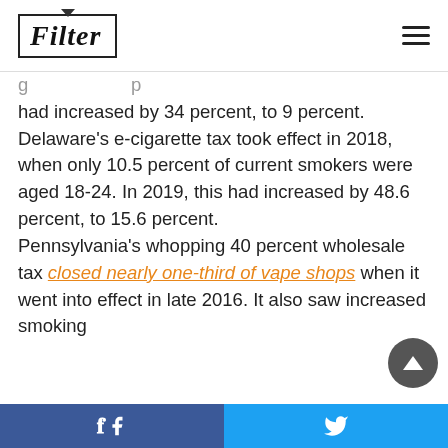Filter
had increased by 34 percent, to 9 percent. Delaware's e-cigarette tax took effect in 2018, when only 10.5 percent of current smokers were aged 18-24. In 2019, this had increased by 48.6 percent, to 15.6 percent.
Pennsylvania's whopping 40 percent wholesale tax closed nearly one-third of vape shops when it went into effect in late 2016. It also saw increased smoking
Facebook share | Twitter share